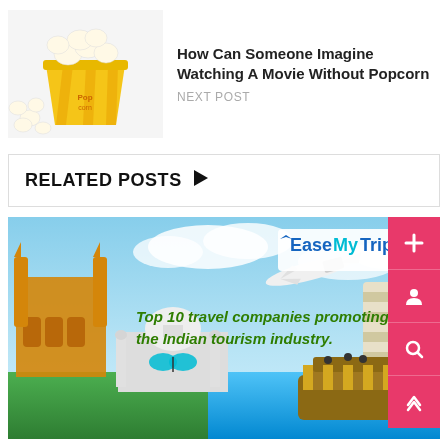[Figure (photo): Popcorn bucket with spilled popcorn — thumbnail image for next post]
How Can Someone Imagine Watching A Movie Without Popcorn
NEXT POST
RELATED POSTS ▶
[Figure (illustration): EaseMyTrip travel banner showing Indian landmarks (Charminar, Taj Mahal), plane, boat, Leaning Tower of Pisa, butterfly, with text: Top 10 travel companies promoting the Indian tourism industry.]